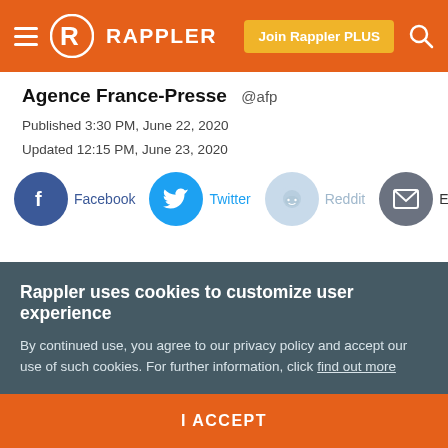Rappler — Join Rappler PLUS
Agence France-Presse @afp
Published 3:30 PM, June 22, 2020
Updated 12:15 PM, June 23, 2020
[Figure (infographic): Social share buttons: Facebook, Twitter, Reddit, Email]
Rappler uses cookies to customize user experience
By continued use, you agree to our privacy policy and accept our use of such cookies. For further information, click find out more
I ACCEPT